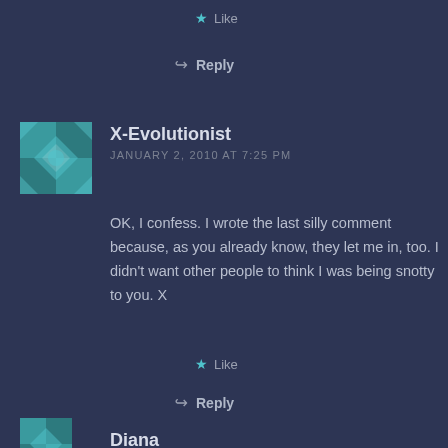Like
Reply
X-Evolutionist
JANUARY 2, 2010 AT 7:25 PM
OK, I confess. I wrote the last silly comment because, as you already know, they let me in, too. I didn't want other people to think I was being snotty to you. X
Like
Reply
Diana